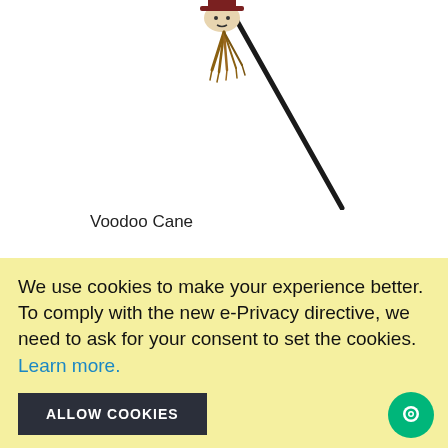[Figure (photo): A Voodoo Cane prop — a long black stick with a voodoo doll head wearing a dark hat at the top, with brown ribbon/fringe hanging from it, angled diagonally.]
Voodoo Cane
We use cookies to make your experience better. To comply with the new e-Privacy directive, we need to ask for your consent to set the cookies. Learn more.
ALLOW COOKIES